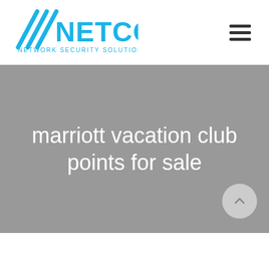[Figure (logo): NETCO Network Security Solutions LLC logo with blue diagonal lines and blue text, plus hamburger menu icon on the right]
marriott vacation club points for sale